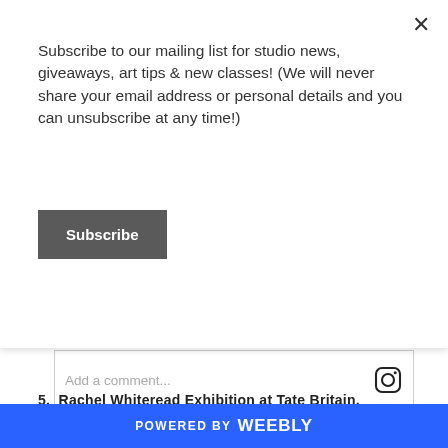Subscribe to our mailing list for studio news, giveaways, art tips & new classes! (We will never share your email address or personal details and you can unsubscribe at any time!)
Subscribe
[Figure (screenshot): Add a comment input box with Instagram icon on the right]
5. Rachel Whiteread Exhibition at Tate Britain,
POWERED BY weebly